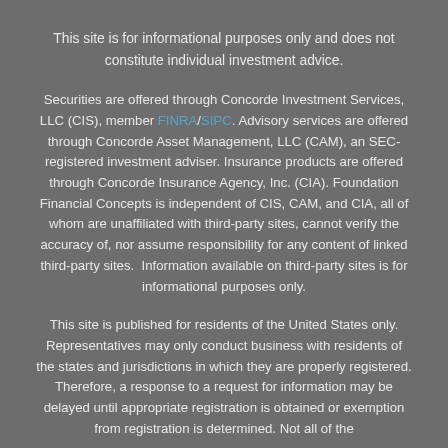This site is for informational purposes only and does not constitute individual investment advice.
Securities are offered through Concorde Investment Services, LLC (CIS), member FINRA/SIPC. Advisory services are offered through Concorde Asset Management, LLC (CAM), an SEC-registered investment adviser. Insurance products are offered through Concorde Insurance Agency, Inc. (CIA). Foundation Financial Concepts is independent of CIS, CAM, and CIA, all of whom are unaffiliated with third-party sites, cannot verify the accuracy of, nor assume responsibility for any content of linked third-party sites.  Information available on third-party sites is for informational purposes only.
This site is published for residents of the United States only. Representatives may only conduct business with residents of the states and jurisdictions in which they are properly registered. Therefore, a response to a request for information may be delayed until appropriate registration is obtained or exemption from registration is determined. Not all of the